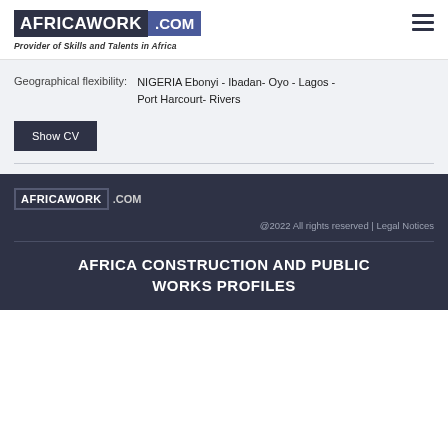AFRICAWORK .COM — Provider of Skills and Talents in Africa
Geographical flexibility: NIGERIA Ebonyi - Ibadan- Oyo - Lagos - Port Harcourt- Rivers
Show CV
AFRICAWORK .COM @2022 All rights reserved | Legal Notices
AFRICA CONSTRUCTION AND PUBLIC WORKS PROFILES